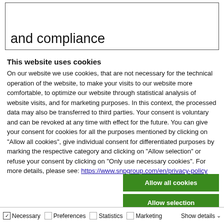and compliance
This website uses cookies
On our website we use cookies, that are not necessary for the technical operation of the website, to make your visits to our website more comfortable, to optimize our website through statistical analysis of website visits, and for marketing purposes. In this context, the processed data may also be transferred to third parties. Your consent is voluntary and can be revoked at any time with effect for the future. You can give your consent for cookies for all the purposes mentioned by clicking on "Allow all cookies", give individual consent for differentiated purposes by marking the respective category and clicking on "Allow selection" or refuse your consent by clicking on "Only use necessary cookies". For more details, please see: https://www.snpgroup.com/en/privacy-policy
[Figure (other): Three buttons: 'Allow all cookies' (green), 'Allow selection' (green), 'Use necessary cookies only' (gray)]
Necessary   Preferences   Statistics   Marketing   Show details